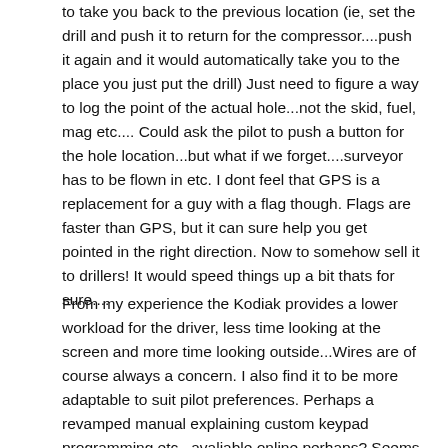to take you back to the previous location (ie, set the drill and push it to return for the compressor....push it again and it would automatically take you to the place you just put the drill) Just need to figure a way to log the point of the actual hole...not the skid, fuel, mag etc.... Could ask the pilot to push a button for the hole location...but what if we forget....surveyor has to be flown in etc. I dont feel that GPS is a replacement for a guy with a flag though. Flags are faster than GPS, but it can sure help you get pointed in the right direction. Now to somehow sell it to drillers! It would speed things up a bit thats for sure....
From my experience the Kodiak provides a lower workload for the driver, less time looking at the screen and more time looking outside...Wires are of course always a concern. I also find it to be more adaptable to suit pilot preferences. Perhaps a revamped manual explaining custom keypad programming etc...avaliable online perhaps? Seems every pilot has a laptop these days....